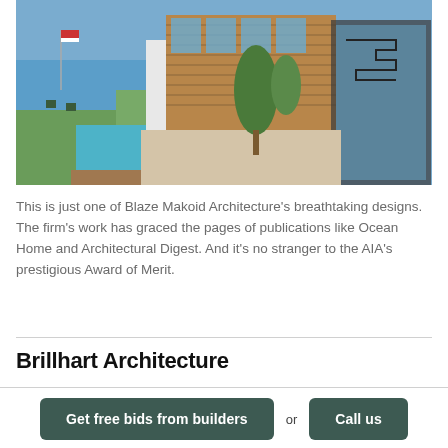[Figure (photo): Aerial/elevated view of a modern residential home with wood cladding, large glass windows, a pool with deck, gravel courtyard, trees, and waterfront visible in the background with an American flag.]
This is just one of Blaze Makoid Architecture’s breathtaking designs. The firm’s work has graced the pages of publications like Ocean Home and Architectural Digest. And it’s no stranger to the AIA’s prestigious Award of Merit.
Brillhart Architecture
Get free bids from builders
or
Call us